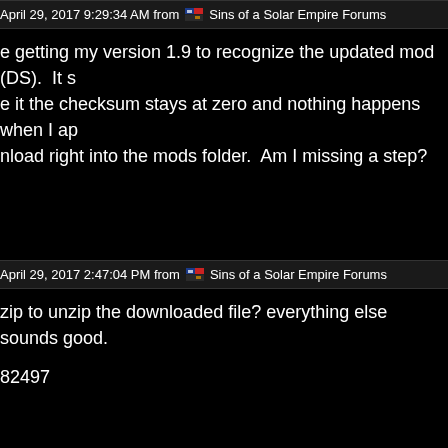April 29, 2017 9:29:34 AM from ⊟ Sins of a Solar Empire Forums
e getting my version 1.9 to recognize the updated mod (DS).  It s e it the checksum stays at zero and nothing happens when I ap nload right into the mods folder.  Am I missing a step?
April 29, 2017 2:47:04 PM from ⊟ Sins of a Solar Empire Forums
zip to unzip the downloaded file? everything else sounds good.
82497